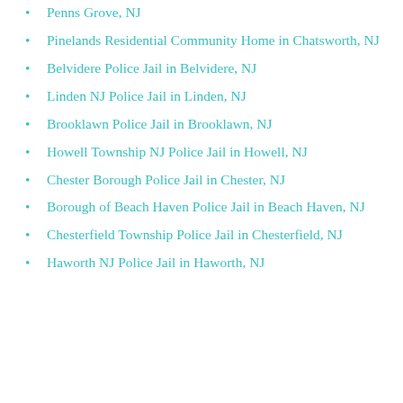Penns Grove, NJ
Pinelands Residential Community Home in Chatsworth, NJ
Belvidere Police Jail in Belvidere, NJ
Linden NJ Police Jail in Linden, NJ
Brooklawn Police Jail in Brooklawn, NJ
Howell Township NJ Police Jail in Howell, NJ
Chester Borough Police Jail in Chester, NJ
Borough of Beach Haven Police Jail in Beach Haven, NJ
Chesterfield Township Police Jail in Chesterfield, NJ
Haworth NJ Police Jail in Haworth, NJ